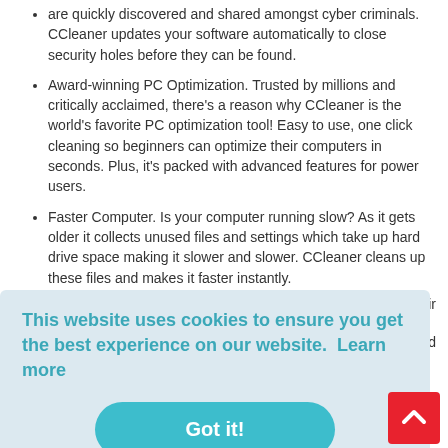Security risk. Old software can have vulnerabilities, which are quickly discovered and shared amongst cyber criminals. CCleaner updates your software automatically to close security holes before they can be found.
Award-winning PC Optimization. Trusted by millions and critically acclaimed, there's a reason why CCleaner is the world's favorite PC optimization tool! Easy to use, one click cleaning so beginners can optimize their computers in seconds. Plus, it's packed with advanced features for power users.
Faster Computer. Is your computer running slow? As it gets older it collects unused files and settings which take up hard drive space making it slower and slower. CCleaner cleans up these files and makes it faster instantly.
Safer Browsing. Advertisers and websites track your behavior online with cookies that stay on your computer.
This website uses cookies to ensure you get the best experience on our website.  Learn more
Got it!
Quicker Startup. Many programs run silently in the background when you start your computer. CCleaner...